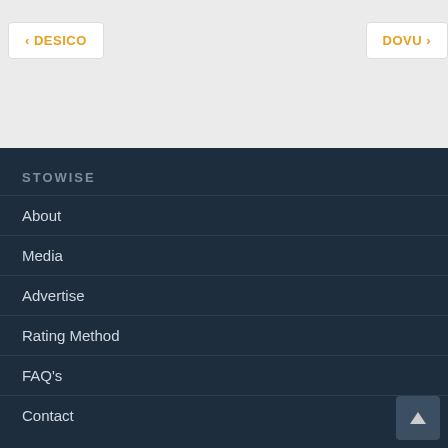← DESICO
DOVU →
STOWISE
About
Media
Advertise
Rating Method
FAQ's
Contact